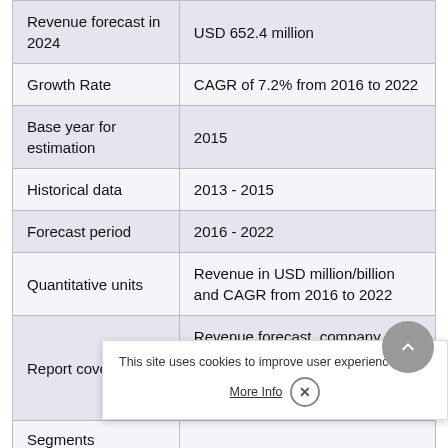|  |  |
| --- | --- |
| Revenue forecast in 2024 | USD 652.4 million |
| Growth Rate | CAGR of 7.2% from 2016 to 2022 |
| Base year for estimation | 2015 |
| Historical data | 2013 - 2015 |
| Forecast period | 2016 - 2022 |
| Quantitative units | Revenue in USD million/billion and CAGR from 2016 to 2022 |
| Report coverage | Revenue forecast, company ranking, competitive landscape, g… tr… |
| Segments |  |